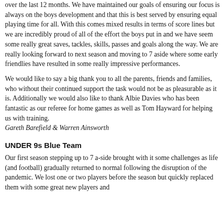over the last 12 months. We have maintained our goals of ensuring our focus is always on the boys development and that this is best served by ensuring equal playing time for all. With this comes mixed results in terms of score lines but we are incredibly proud of all of the effort the boys put in and we have seem some really great saves, tackles, skills, passes and goals along the way. We are really looking forward to next season and moving to 7 aside where some early friendlies have resulted in some really impressive performances.
We would like to say a big thank you to all the parents, friends and families, who without their continued support the task would not be as pleasurable as it is. Additionally we would also like to thank Albie Davies who has been fantastic as our referee for home games as well as Tom Hayward for helping us with training.
Gareth Barefield & Warren Ainsworth
UNDER 9s Blue Team
Our first season stepping up to 7 a-side brought with it some challenges as life (and football) gradually returned to normal following the disruption of the pandemic. We lost one or two players before the season but quickly replaced them with some great new players and